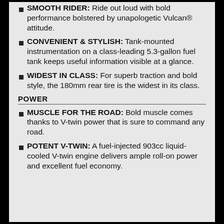SMOOTH RIDER: Ride out loud with bold performance bolstered by unapologetic Vulcan® attitude.
CONVENIENT & STYLISH: Tank-mounted instrumentation on a class-leading 5.3-gallon fuel tank keeps useful information visible at a glance.
WIDEST IN CLASS: For superb traction and bold style, the 180mm rear tire is the widest in its class.
POWER
MUSCLE FOR THE ROAD: Bold muscle comes thanks to V-twin power that is sure to command any road.
POTENT V-TWIN: A fuel-injected 903cc liquid-cooled V-twin engine delivers ample roll-on power and excellent fuel economy.